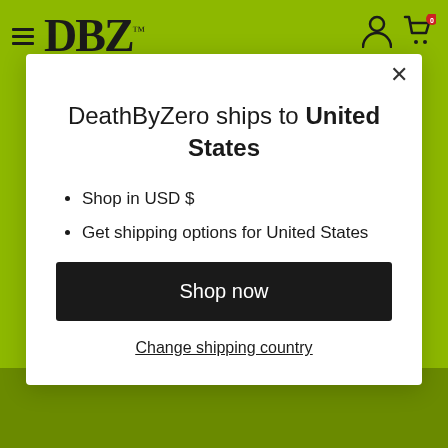[Figure (screenshot): DBZ brand website header with hamburger menu icon, DBZ logo, user icon, and shopping cart icon with badge showing 0, on olive/yellow-green background.]
DeathByZero ships to United States
Shop in USD $
Get shipping options for United States
Shop now
Change shipping country